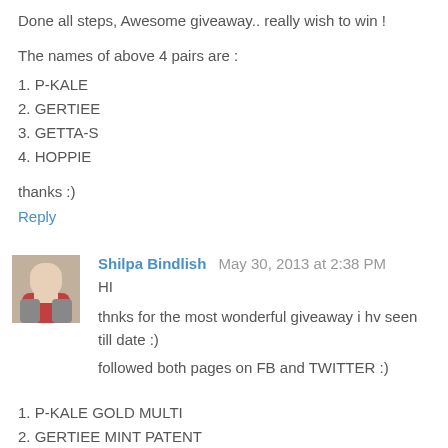Done all steps, Awesome giveaway.. really wish to win !
The names of above 4 pairs are :
1. P-KALE
2. GERTIEE
3. GETTA-S
4. HOPPIE
thanks :)
Reply
Shilpa Bindlish  May 30, 2013 at 2:38 PM
HI
thnks for the most wonderful giveaway i hv seen till date :) followed both pages on FB and TWITTER :)
1. P-KALE GOLD MULTI
2. GERTIEE MINT PATENT
3. GETTA-S SILVER SATIN